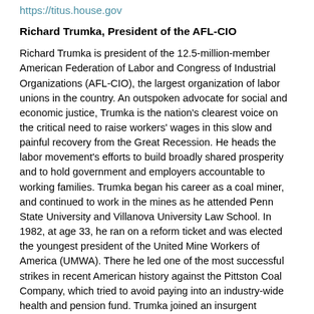https://titus.house.gov
Richard Trumka, President of the AFL-CIO
Richard Trumka is president of the 12.5-million-member American Federation of Labor and Congress of Industrial Organizations (AFL-CIO), the largest organization of labor unions in the country. An outspoken advocate for social and economic justice, Trumka is the nation's clearest voice on the critical need to raise workers' wages in this slow and painful recovery from the Great Recession. He heads the labor movement's efforts to build broadly shared prosperity and to hold government and employers accountable to working families. Trumka began his career as a coal miner, and continued to work in the mines as he attended Penn State University and Villanova University Law School. In 1982, at age 33, he ran on a reform ticket and was elected the youngest president of the United Mine Workers of America (UMWA). There he led one of the most successful strikes in recent American history against the Pittston Coal Company, which tried to avoid paying into an industry-wide health and pension fund. Trumka joined an insurgent campaign and was elected secretary-treasurer of the AFL-CIO in 1995. He became the federation's president in 2009.
http://www.aflcio.org
Nan Whaley, Mayor of Dayton, Ohio
Nan's career is distinguished by her commitment to public service,